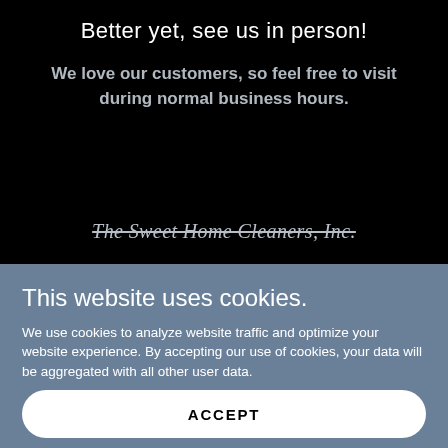Better yet, see us in person!
We love our customers, so feel free to visit during normal business hours.
The Sweet Home Cleaners, Inc.
This website uses cookies.
We use cookies to analyze website traffic and optimize your website experience. By accepting our use of cookies, your data will be aggregated with all other user data.
ACCEPT